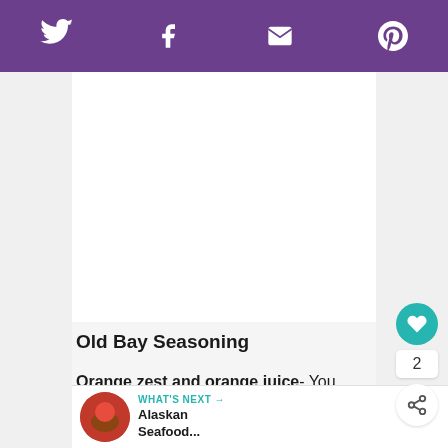Twitter | Facebook | Email | Pinterest
[Figure (other): Blank white content/image area]
Old Bay Seasoning
Orange zest and orange juice- You substitute lemon zest and juice